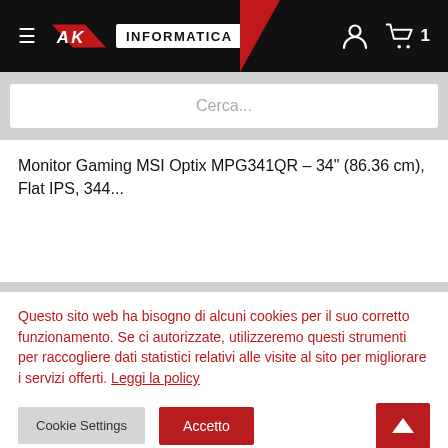AK Informatica
Cerca...
Monitor Gaming MSI Optix MPG341QR – 34" (86.36 cm), Flat IPS, 344...
€799,00  Iva inclusa
Questo sito web ha bisogno di alcuni cookies per il suo corretto funzionamento. Se ci autorizzate, utilizzeremo questi strumenti per raccogliere dati statistici relativi alle visite al sito per migliorare i servizi offerti. Leggi la policy
Cookie Settings  Accetto